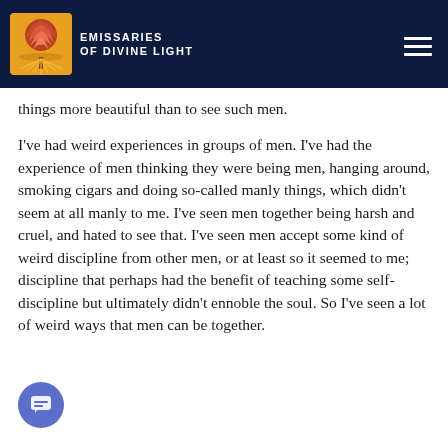Emissaries of Divine Light
things more beautiful than to see such men.
I've had weird experiences in groups of men. I've had the experience of men thinking they were being men, hanging around, smoking cigars and doing so-called manly things, which didn't seem at all manly to me. I've seen men together being harsh and cruel, and hated to see that. I've seen men accept some kind of weird discipline from other men, or at least so it seemed to me; discipline that perhaps had the benefit of teaching some self-discipline but ultimately didn't ennoble the soul. So I've seen a lot of weird ways that men can be together.